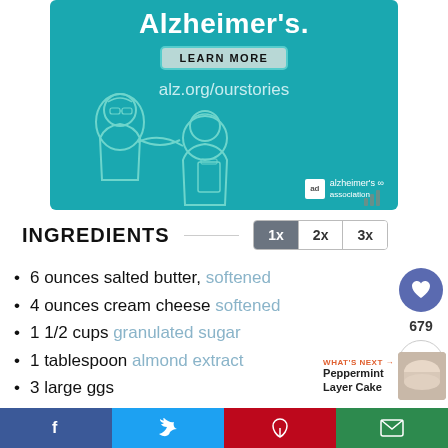[Figure (illustration): Alzheimer's Association advertisement with teal background. Shows illustrated elderly couple, text 'Alzheimer's.', 'LEARN MORE' button, 'alz.org/ourstories' URL, and Alzheimer's Association logo.]
INGREDIENTS
6 ounces salted butter, softened
4 ounces cream cheese softened
1 1/2 cups granulated sugar
1 tablespoon almond extract
3 large ggs
f   t   P   ✉  |  WHAT'S NEXT → Peppermint Layer Cake